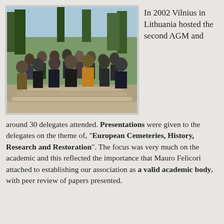[Figure (photo): Group photo of approximately 30 delegates standing on outdoor steps surrounded by trees, taken at the 2002 Vilnius AGM in Lithuania.]
In 2002 Vilnius in Lithuania hosted the second AGM and around 30 delegates attended. Presentations were given to the delegates on the theme of, “European Cemeteries, History, Research and Restoration”. The focus was very much on the academic and this reflected the importance that Mauro Felicori attached to establishing our association as a valid academic body, with peer review of papers presented.